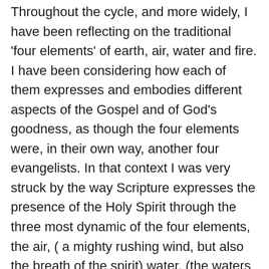Throughout the cycle, and more widely, I have been reflecting on the traditional 'four elements' of earth, air, water and fire. I have been considering how each of them expresses and embodies different aspects of the Gospel and of God's goodness, as though the four elements were, in their own way, another four evangelists. In that context I was very struck by the way Scripture expresses the presence of the Holy Spirit through the three most dynamic of the four elements, the air, ( a mighty rushing wind, but also the breath of the spirit) water, (the waters of baptism, the river of life, the fountain springing up to eternal life promised by Jesus) and of course fire, the tongues of flame at Pentecost. Three out of four ain't bad, but I was wondering, where is the fourth? Where is earth? And then I realised that we ourselves are earth, the 'Adam' made of the red clay, and we become living beings, fully alive, when the Holy Spirit, the third in the three, the...